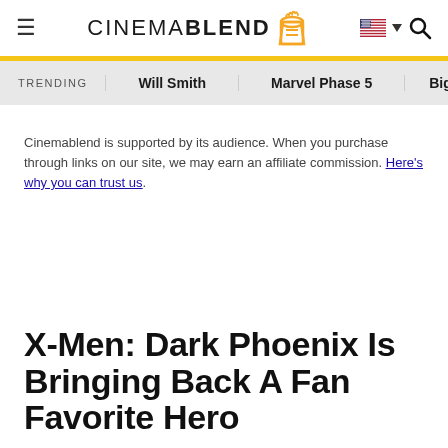≡  CINEMABLEND  [logo icon]
TRENDING   Will Smith   Marvel Phase 5   Big B
Cinemablend is supported by its audience. When you purchase through links on our site, we may earn an affiliate commission. Here's why you can trust us.
X-Men: Dark Phoenix Is Bringing Back A Fan Favorite Hero